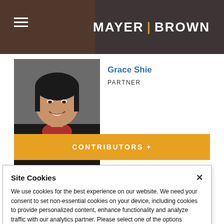MAYER | BROWN
[Figure (photo): Professional headshot of Grace Shie, a woman smiling in business attire]
Grace Shie
PARTNER
CONTRIBUTORS +
Site Cookies
We use cookies for the best experience on our website. We need your consent to set non-essential cookies on your device, including cookies to provide personalized content, enhance functionality and analyze traffic with our analytics partner. Please select one of the options shown. Cookie Policy